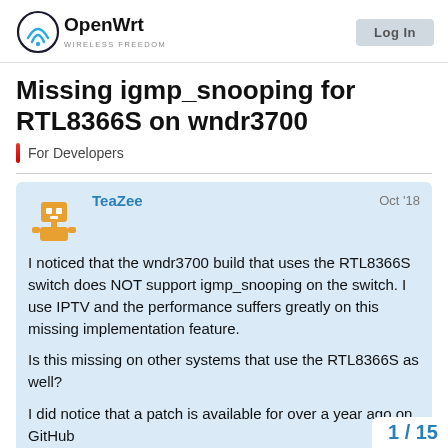OpenWrt — WIRELESS FREEDOM | [Log In button]
Missing igmp_snooping for RTL8366S on wndr3700
For Developers
TeaZee   Oct '18

I noticed that the wndr3700 build that uses the RTL8366S switch does NOT support igmp_snooping on the switch. I use IPTV and the performance suffers greatly on this missing implementation feature.

Is this missing on other systems that use the RTL8366S as well?

I did notice that a patch is available for over a year ago on GitHub
https://gist.github.com/ionkeri/b35e3820a9
1 / 15